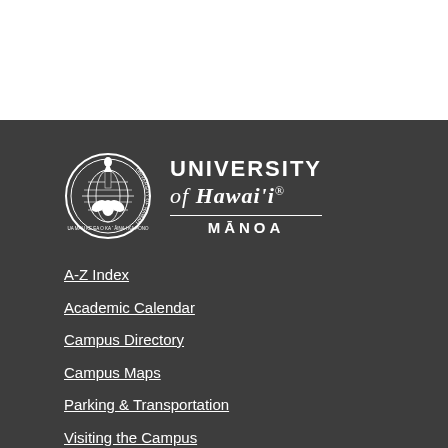[Figure (logo): University of Hawai'i at Mānoa logo — circular seal on left, text 'University of Hawai'i Mānoa' on right, white on dark background]
A-Z Index
Academic Calendar
Campus Directory
Campus Maps
Parking & Transportation
Visiting the Campus
Emergency Information